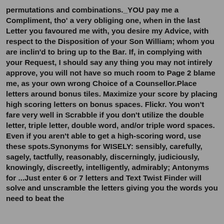permutations and combinations._YOU pay me a Compliment, tho' a very obliging one, when in the last Letter you favoured me with, you desire my Advice, with respect to the Disposition of your Son William; whom you are inclin'd to bring up to the Bar. If, in complying with your Request, I should say any thing you may not intirely approve, you will not have so much room to Page 2 blame me, as your own wrong Choice of a Counsellor.Place letters around bonus tiles. Maximize your score by placing high scoring letters on bonus spaces. Flickr. You won't fare very well in Scrabble if you don't utilize the double letter, triple letter, double word, and/or triple word spaces. Even if you aren't able to get a high-scoring word, use these spots.Synonyms for WISELY: sensibly, carefully, sagely, tactfully, reasonably, discerningly, judiciously, knowingly, discreetly, intelligently, admirably; Antonyms for ...Just enter 6 or 7 letters and Text Twist Finder will solve and unscramble the letters giving you the words you need to beat the